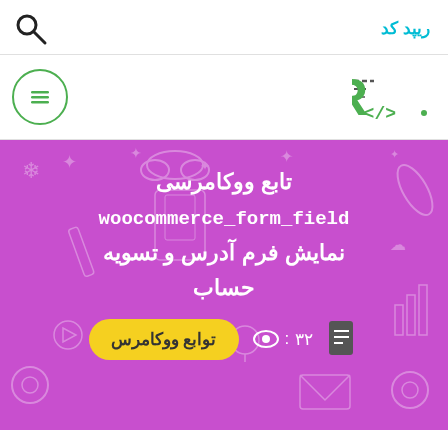ریپد کد
[Figure (logo): RapidCode logo with stylized R and code symbol, green color with motion lines]
[Figure (other): Green circular hamburger menu button with three lines]
تابع ووکامرسی woocommerce_form_field نمایش فرم آدرس و تسویه حساب
۳۲ :  توابع ووکامرس